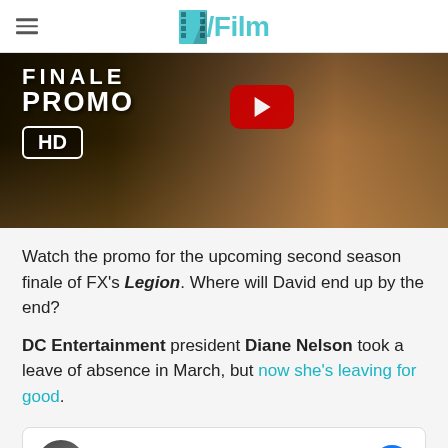/Film
[Figure (screenshot): Video thumbnail showing a close-up of a man's face from nose down, with text overlay: FINALE PROMO HD, and a YouTube play button in the center.]
Watch the promo for the upcoming second season finale of FX's Legion. Where will David end up by the end?
DC Entertainment president Diane Nelson took a leave of absence in March, but now she's leaving for good.
James Gunn ✓ about 4 years ago